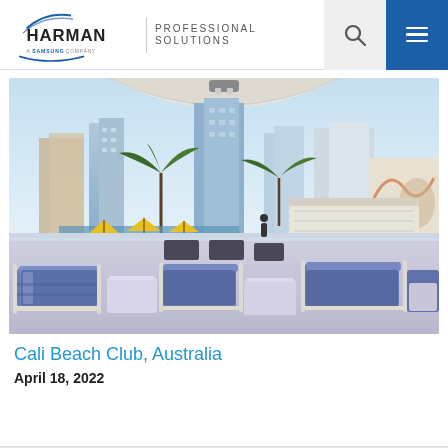HARMAN PROFESSIONAL SOLUTIONS
[Figure (photo): Aerial/elevated view of Cali Beach Club outdoor pool terrace area with blue loungers, yellow umbrellas, palm trees, and city skyline in the background. Modern architecture with glass barriers.]
Cali Beach Club, Australia
April 18, 2022